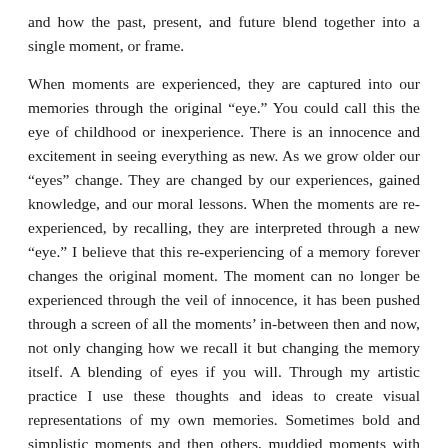and how the past, present, and future blend together into a single moment, or frame.
When moments are experienced, they are captured into our memories through the original “eye.” You could call this the eye of childhood or inexperience. There is an innocence and excitement in seeing everything as new. As we grow older our “eyes” change. They are changed by our experiences, gained knowledge, and our moral lessons. When the moments are re-experienced, by recalling, they are interpreted through a new “eye.” I believe that this re-experiencing of a memory forever changes the original moment. The moment can no longer be experienced through the veil of innocence, it has been pushed through a screen of all the moments’ in-between then and now, not only changing how we recall it but changing the memory itself. A blending of eyes if you will. Through my artistic practice I use these thoughts and ideas to create visual representations of my own memories. Sometimes bold and simplistic moments and then others, muddied moments with all the thoughts, emotions, and merged recollections.